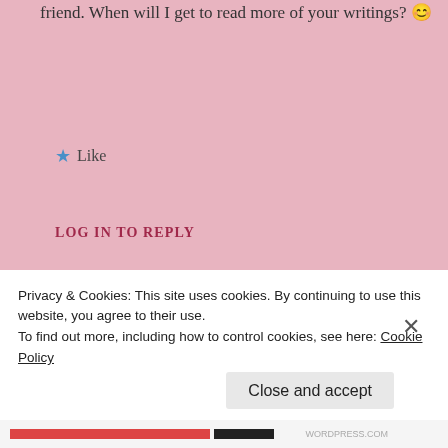friend. When will I get to read more of your writings? 😊
★ Like
LOG IN TO REPLY
Leave a Reply to danee29 Cancel reply
reply
Privacy & Cookies: This site uses cookies. By continuing to use this website, you agree to their use.
To find out more, including how to control cookies, see here: Cookie Policy
Close and accept